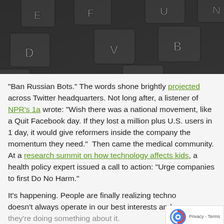[Figure (photo): Close-up photo of a dark grey laptop keyboard showing keys E, F, U, N, D, V, B, P, C visible from an angled perspective]
“Ban Russian Bots.” The words shone brightly projected across Twitter headquarters. Not long after, a listener of NPR’s 1a wrote: “Wish there was a national movement, like a Quit Facebook day. If they lost a million plus U.S. users in 1 day, it would give reformers inside the company the momentum they need.”  Then came the medical community. At a research summit on how technology affects kids, a health policy expert issued a call to action: “Urge companies to first Do No Harm.”
It’s happening. People are finally realizing technology doesn’t always operate in our best interests and they’re doing something about it.